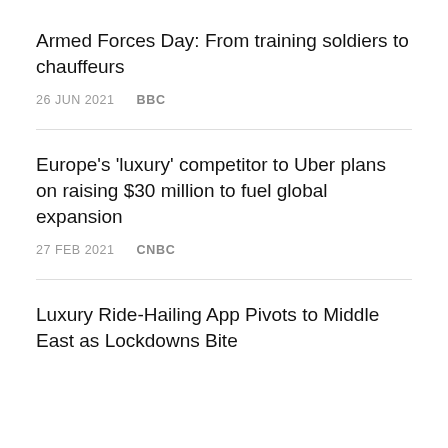Armed Forces Day: From training soldiers to chauffeurs
26 JUN 2021   BBC
Europe's 'luxury' competitor to Uber plans on raising $30 million to fuel global expansion
27 FEB 2021   CNBC
Luxury Ride-Hailing App Pivots to Middle East as Lockdowns Bite